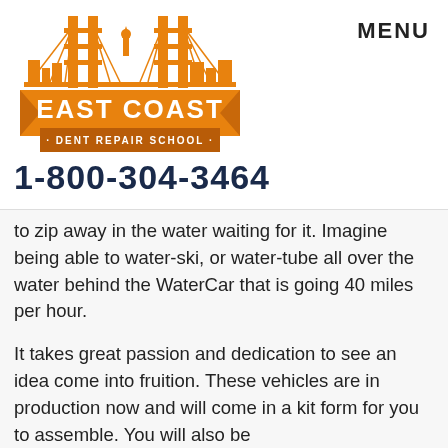[Figure (logo): East Coast Dent Repair School logo with orange bridge/skyline silhouette and banner]
MENU
1-800-304-3464
to zip away in the water waiting for it. Imagine being able to water-ski, or water-tube all over the water behind the WaterCar that is going 40 miles per hour.
It takes great passion and dedication to see an idea come into fruition. These vehicles are in production now and will come in a kit form for you to assemble. You will also be